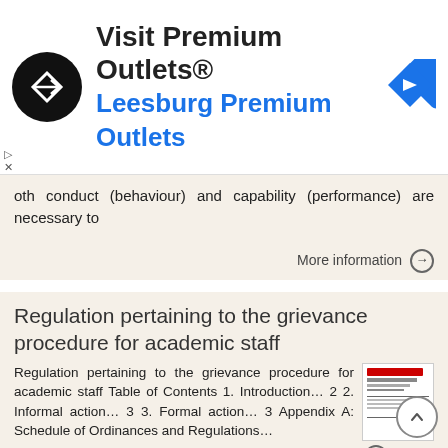[Figure (other): Advertisement banner for Visit Premium Outlets® Leesburg Premium Outlets with logo and navigation arrow icon]
oth conduct (behaviour) and capability (performance) are necessary to
More information →
Regulation pertaining to the grievance procedure for academic staff
Regulation pertaining to the grievance procedure for academic staff Table of Contents 1. Introduction… 2 2. Informal action… 3 3. Formal action… 3 Appendix A: Schedule of Ordinances and Regulations…
More information →